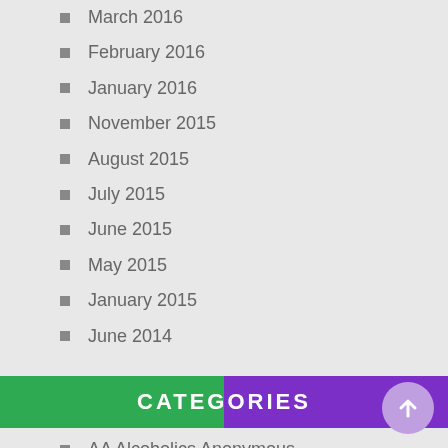March 2016
February 2016
January 2016
November 2015
August 2015
July 2015
June 2015
May 2015
January 2015
June 2014
CATEGORIES
AA Alcoholics Anonymous
Abortion